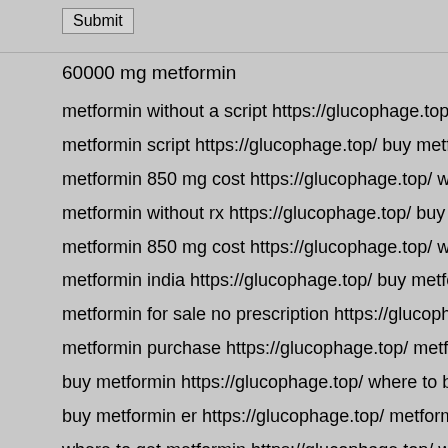Submit
60000 mg metformin
metformin without a script https://glucophage.top/ metformin brand n
metformin script https://glucophage.top/ buy metformin on line
metformin 850 mg cost https://glucophage.top/ where i can buy metf
metformin without rx https://glucophage.top/ buy metformin er
metformin 850 mg cost https://glucophage.top/ where can i purchase
metformin india https://glucophage.top/ buy metformin uk
metformin for sale no prescription https://glucophage.top/ metformin
metformin purchase https://glucophage.top/ metformin 150 mg
buy metformin https://glucophage.top/ where to buy metformin 500 m
buy metformin er https://glucophage.top/ metformin 850g
where to get metformin https://glucophage.top/ where can i buy mett